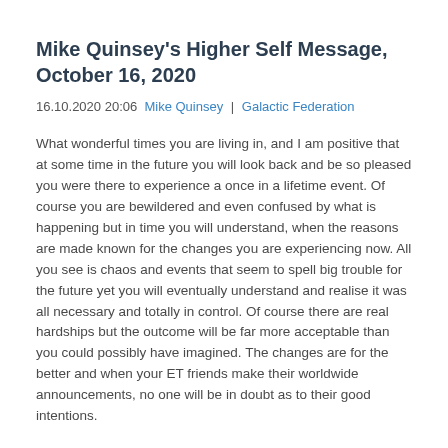Mike Quinsey's Higher Self Message, October 16, 2020
16.10.2020 20:06  Mike Quinsey  |  Galactic Federation
What wonderful times you are living in, and I am positive that at some time in the future you will look back and be so pleased you were there to experience a once in a lifetime event. Of course you are bewildered and even confused by what is happening but in time you will understand, when the reasons are made known for the changes you are experiencing now. All you see is chaos and events that seem to spell big trouble for the future yet you will eventually understand and realise it was all necessary and totally in control. Of course there are real hardships but the outcome will be far more acceptable than you could possibly have imagined. The changes are for the better and when your ET friends make their worldwide announcements, no one will be in doubt as to their good intentions.
Read More…